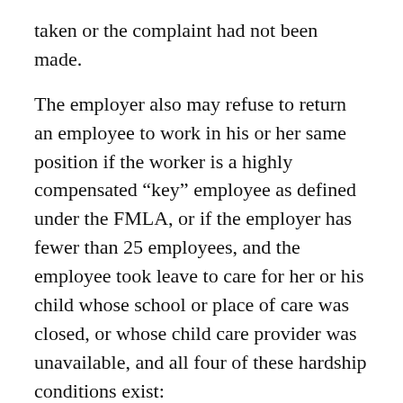taken or the complaint had not been made.
The employer also may refuse to return an employee to work in his or her same position if the worker is a highly compensated “key” employee as defined under the FMLA, or if the employer has fewer than 25 employees, and the employee took leave to care for her or his child whose school or place of care was closed, or whose child care provider was unavailable, and all four of these hardship conditions exist:
The employee’s position no longer exists due to economic or operating conditions that affect employment